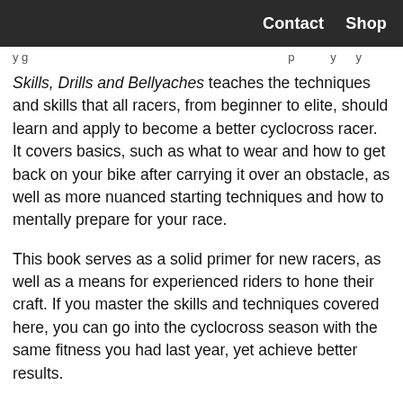Contact  Shop
y g                                                    p         y     y
Skills, Drills and Bellyaches teaches the techniques and skills that all racers, from beginner to elite, should learn and apply to become a better cyclocross racer. It covers basics, such as what to wear and how to get back on your bike after carrying it over an obstacle, as well as more nuanced starting techniques and how to mentally prepare for your race.
This book serves as a solid primer for new racers, as well as a means for experienced riders to hone their craft. If you master the skills and techniques covered here, you can go into the cyclocross season with the same fitness you had last year, yet achieve better results.
Check out the review from Paved Magazine: www.pavedmag.com/featured/book-report